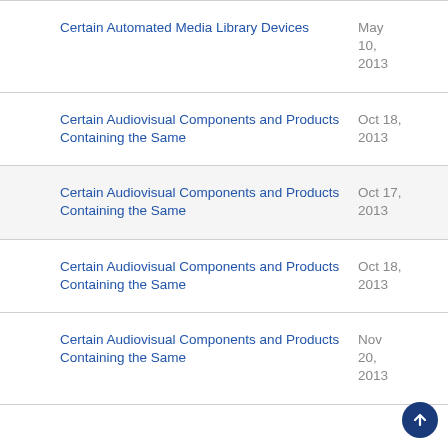Certain Automated Media Library Devices | May 10, 2013
Certain Audiovisual Components and Products Containing the Same | Oct 18, 2013
Certain Audiovisual Components and Products Containing the Same | Oct 17, 2013
Certain Audiovisual Components and Products Containing the Same | Oct 18, 2013
Certain Audiovisual Components and Products Containing the Same | Nov 20, 2013